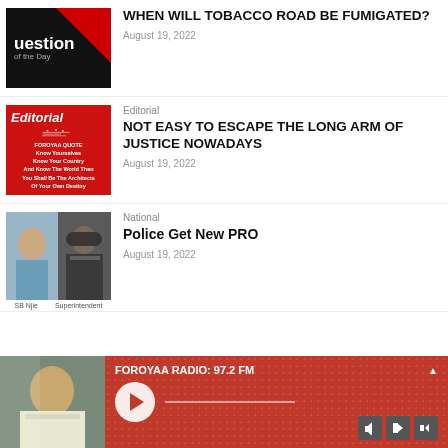[Figure (photo): Question of the Day thumbnail - black background with red triangle accent and white text reading 'question of the Day']
WHEN WILL TOBACCO ROAD BE FUMIGATED?
August 19, 2022
[Figure (photo): Editorial thumbnail - red background with white 'Editorial' text and decorative graphic with Foroyaa quote text]
Editorial
NOT EASY TO ESCAPE THE LONG ARM OF JUSTICE NOWADAYS
August 19, 2022
[Figure (photo): Police PRO thumbnail - two-panel image showing two officers with caption 'SB Njie' and 'Superintendent']
National
Police Get New PRO
August 19, 2022
[Figure (photo): Foroyaa Radio banner with red background, play button, progress bar, and social media icons. Text: FOROYAA RADIO: 97.2 FM]